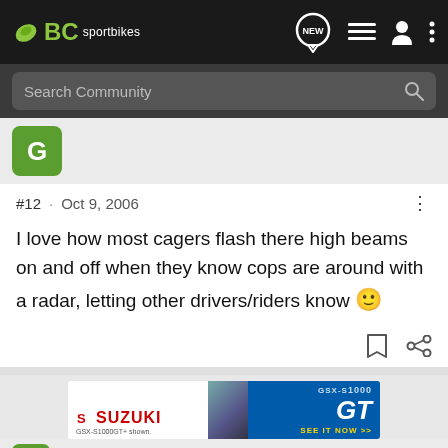BC sportbikes
Search Community
[Figure (screenshot): Green avatar with letter G]
#12 · Oct 9, 2006
I love how most cagers flash there high beams on and off when they know cops are around with a radar, letting other drivers/riders know 🙂
[Figure (photo): Suzuki GSX-S1000 GT advertisement banner]